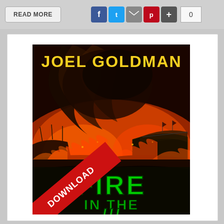[Figure (screenshot): Top navigation bar with READ MORE button and social sharing icons (Facebook, Twitter, Email, Pinterest, Plus) and count box showing 0]
[Figure (photo): Book cover for 'Fire in the...' by Joel Goldman. Cover shows a dramatic scene of a stadium or arena on fire with dark smoke and orange flames, with the author name in yellow at the top and 'FIRE' in green neon-style letters at the bottom. A red diagonal ribbon/banner across the lower-left corner reads 'DOWNLOAD'.]